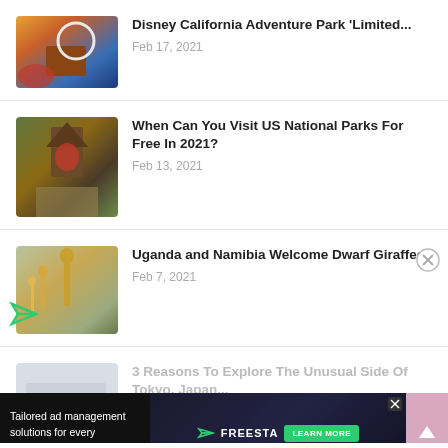[Figure (photo): Disney California Adventure Park thumbnail - colorful sunset with ferris wheel and amusement park]
Disney California Adventure Park 'Limited...
Feb 17, 2021
[Figure (photo): US National Parks entrance gate thumbnail - stone arch with road]
When Can You Visit US National Parks For Free In 2021?
Feb 13, 2021
[Figure (photo): Giraffes in Uganda/Namibia thumbnail]
Uganda and Namibia Welcome Dwarf Giraffes
Feb 7, 2021
[Figure (photo): Tokyo Japan thumbnail - faded]
3 Reasons To Explore The Unusual Side Of Tokyo, Japan...
[Figure (screenshot): Advertisement banner: Tailored ad management solutions for every publisher - Freesta with Learn More button]